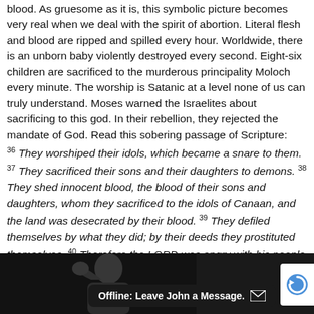blood. As gruesome as it is, this symbolic picture becomes very real when we deal with the spirit of abortion. Literal flesh and blood are ripped and spilled every hour. Worldwide, there is an unborn baby violently destroyed every second. Eight-six children are sacrificed to the murderous principality Moloch every minute. The worship is Satanic at a level none of us can truly understand. Moses warned the Israelites about sacrificing to this god. In their rebellion, they rejected the mandate of God. Read this sobering passage of Scripture:
36 They worshiped their idols, which became a snare to them. 37 They sacrificed their sons and their daughters to demons. 38 They shed innocent blood, the blood of their sons and daughters, whom they sacrificed to the idols of Canaan, and the land was desecrated by their blood. 39 They defiled themselves by what they did; by their deeds they prostituted themselves. 40 Therefore the LORD was angry with his people and abhorred his inheritance. 41 He handed them over to the nations, and their foes ruled over them. 42 Their enemies oppressed them and subjected them to their power. Psalm 106:36-42 (NIV)
[Figure (photo): Black and white photo of a person with hand on head, appearing distressed. Alongside a chat widget showing 'Offline: Leave John a Message.' and a reCAPTCHA corner element.]